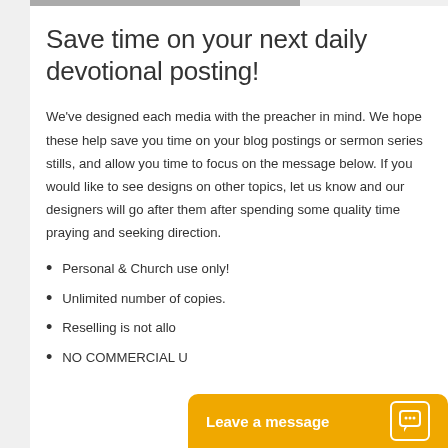Save time on your next daily devotional posting!
We've designed each media with the preacher in mind. We hope these help save you time on your blog postings or sermon series stills, and allow you time to focus on the message below. If you would like to see designs on other topics, let us know and our designers will go after them after spending some quality time praying and seeking direction.
Personal & Church use only!
Unlimited number of copies.
Reselling is not allo…
NO COMMERCIAL U…